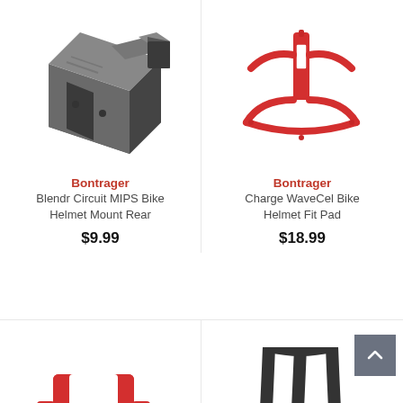[Figure (photo): Bontrager Blendr Circuit MIPS Bike Helmet Mount Rear - dark gray plastic mounting bracket]
Bontrager
Blendr Circuit MIPS Bike Helmet Mount Rear
$9.99
[Figure (photo): Bontrager Charge WaveCel Bike Helmet Fit Pad - red curved helmet pad]
Bontrager
Charge WaveCel Bike Helmet Fit Pad
$18.99
[Figure (photo): Bontrager helmet accessory - red plastic piece, partially visible]
[Figure (photo): Bontrager helmet accessory - dark gray plastic clips/fins, partially visible]